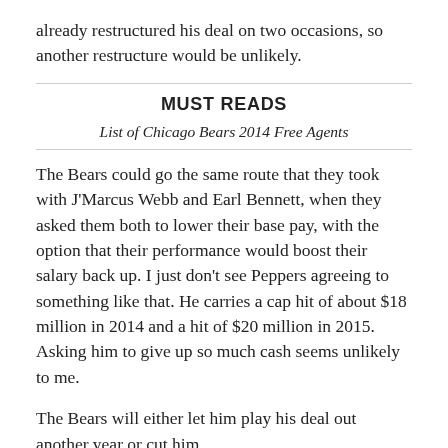already restructured his deal on two occasions, so another restructure would be unlikely.
MUST READS
List of Chicago Bears 2014 Free Agents
The Bears could go the same route that they took with J'Marcus Webb and Earl Bennett, when they asked them both to lower their base pay, with the option that their performance would boost their salary back up. I just don't see Peppers agreeing to something like that. He carries a cap hit of about $18 million in 2014 and a hit of $20 million in 2015. Asking him to give up so much cash seems unlikely to me.
The Bears will either let him play his deal out another year or cut him.